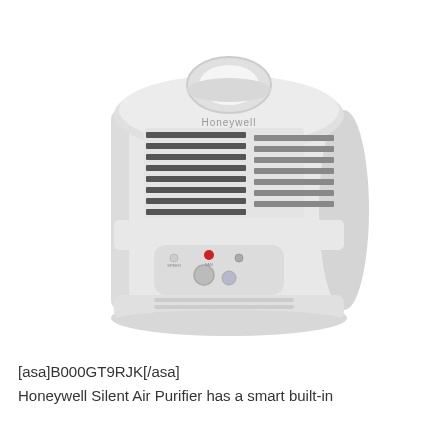[Figure (photo): Photo of a white Honeywell Silent Air Purifier, cylindrical shape with top handle, front-facing ventilation grilles, and a control panel with buttons and indicator lights on the front lower section.]
[asa]B000GT9RJK[/asa]
Honeywell Silent Air Purifier has a smart built-in